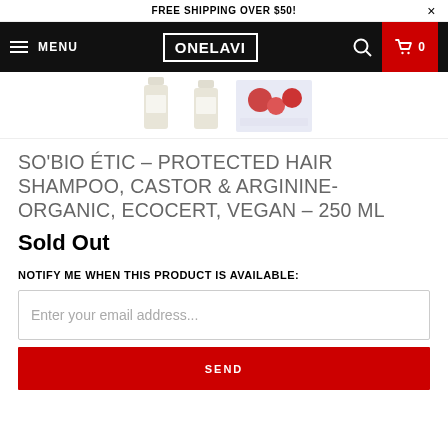FREE SHIPPING OVER $50!
[Figure (screenshot): Website navigation bar with hamburger menu, MENU text, ONELAVI logo, search icon, and cart icon with 0 count on red background]
[Figure (photo): Product thumbnail images: two tall slim bottles and one wider product image with red/pink colors]
SO'BIO ÉTIC - PROTECTED HAIR SHAMPOO, CASTOR & ARGININE-ORGANIC, ECOCERT, VEGAN - 250 ML
Sold Out
NOTIFY ME WHEN THIS PRODUCT IS AVAILABLE:
Enter your email address...
SEND